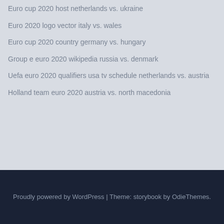Euro cup 2020 host netherlands vs. ukraine
Euro 2020 logo vector italy vs. wales
Euro cup 2020 country germany vs. hungary
Group e euro 2020 wikipedia russia vs. denmark
Uefa euro 2020 qualifiers usa tv schedule netherlands vs. austria
Holland team euro 2020 austria vs. north macedonia
Proudly powered by WordPress | Theme: storybook by OdieThemes.